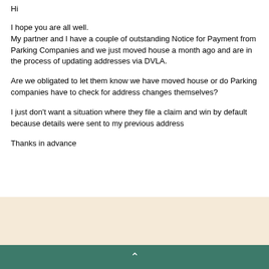Hi
I hope you are all well.
My partner and I have a couple of outstanding Notice for Payment from Parking Companies and we just moved house a month ago and are in the process of updating addresses via DVLA.
Are we obligated to let them know we have moved house or do Parking companies have to check for address changes themselves?
I just don't want a situation where they file a claim and win by default because details were sent to my previous address
Thanks in advance